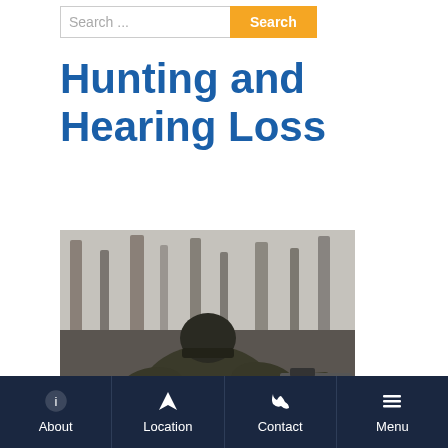Search ...  Search
Hunting and Hearing Loss
[Figure (photo): A person wearing a dark beanie hat and olive/dark green jacket viewed from behind, aiming a scoped rifle in a wooded forest setting with bare trees in the background.]
About  Location  Contact  Menu